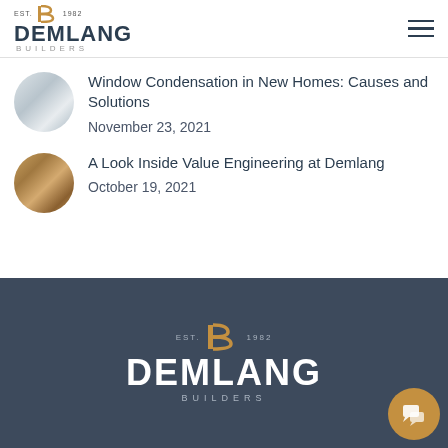EST. 1982 DEMLANG BUILDERS
[Figure (photo): Circular thumbnail of window condensation photo]
Window Condensation in New Homes: Causes and Solutions
November 23, 2021
[Figure (photo): Circular thumbnail of wood framing construction photo]
A Look Inside Value Engineering at Demlang
October 19, 2021
EST. 1982 DEMLANG BUILDERS